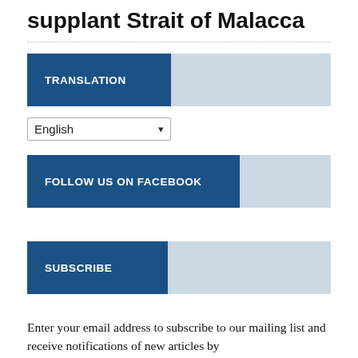supplant Strait of Malacca
TRANSLATION
English
FOLLOW US ON FACEBOOK
SUBSCRIBE
Enter your email address to subscribe to our mailing list and receive notifications of new articles by